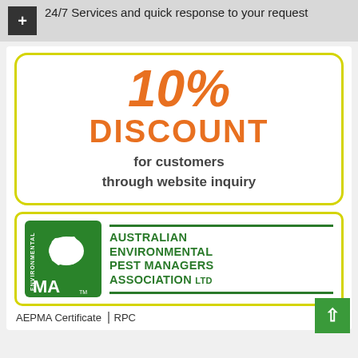+ 24/7 Services and quick response to your request
[Figure (infographic): 10% DISCOUNT for customers through website inquiry — promotional box with yellow border]
[Figure (logo): Australian Environmental Pest Managers Association Ltd (AEPMA) logo in green with map of Australia]
AEPMA Certificate | RPC